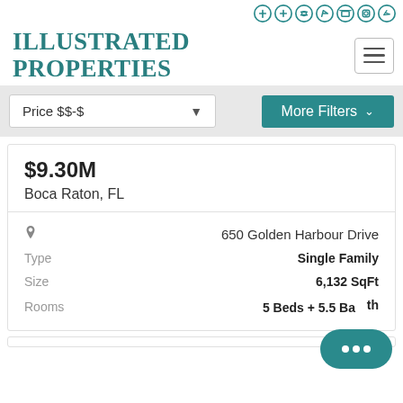Illustrated Properties - social icons and navigation
Illustrated Properties
Price $$-$  More Filters
$9.30M
Boca Raton, FL
650 Golden Harbour Drive
Type  Single Family
Size  6,132 SqFt
Rooms  5 Beds + 5.5 Bath